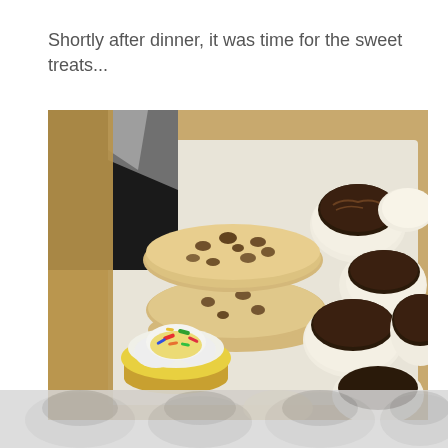Shortly after dinner, it was time for the sweet treats...
[Figure (photo): A bakery box lined with white parchment paper containing an assortment of cookies and treats: a large stacked chocolate chip cookie sandwich in the center, a yellow frosted cupcake with colorful sprinkles at lower left, and several round sandwich cookies with chocolate-dipped tops on the right side. The box is tan/brown cardboard and there is a black bag visible in the upper left.]
[Figure (photo): Partially visible bottom strip showing blurred/cropped continuation of the cookie box image below.]